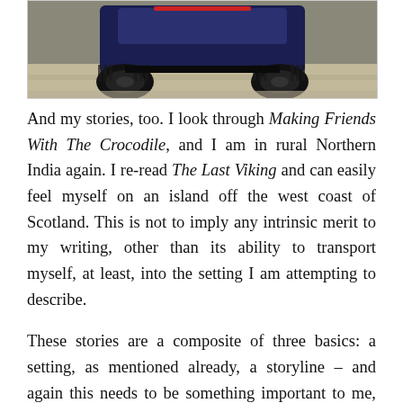[Figure (photo): Photograph showing the rear underside of a vehicle (likely a jeep or SUV) on a dirt/gravel road, viewed from behind. The tyres and chassis are visible, with a dark vehicle body and dusty ground.]
And my stories, too. I look through Making Friends With The Crocodile, and I am in rural Northern India again. I re-read The Last Viking and can easily feel myself on an island off the west coast of Scotland. This is not to imply any intrinsic merit to my writing, other than its ability to transport myself, at least, into the setting I am attempting to describe.
These stories are a composite of three basics: a setting, as mentioned already, a storyline – and again this needs to be something important to me, or I find it pretty well impossible to put my heart into it, and strong,